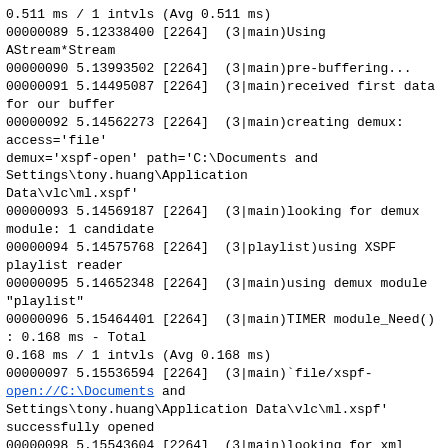0.511 ms / 1 intvls (Avg 0.511 ms)
00000089 5.12338400 [2264]  (3|main)Using AStream*Stream
00000090 5.13993502 [2264]  (3|main)pre-buffering...
00000091 5.14495087 [2264]  (3|main)received first data for our buffer
00000092 5.14562273 [2264]  (3|main)creating demux: access='file'
demux='xspf-open' path='C:\Documents and Settings\tony.huang\Application Data\vlc\ml.xspf'
00000093 5.14569187 [2264]  (3|main)looking for demux module: 1 candidate
00000094 5.14575768 [2264]  (3|playlist)using XSPF playlist reader
00000095 5.14652348 [2264]  (3|main)using demux module "playlist"
00000096 5.15464401 [2264]  (3|main)TIMER module_Need() : 0.168 ms - Total 0.168 ms / 1 intvls (Avg 0.168 ms)
00000097 5.15536594 [2264]  (3|main)`file/xspf-open://C:\Documents and Settings\tony.huang\Application Data\vlc\ml.xspf' successfully opened
00000098 5.15543604 [2264]  (3|main)looking for xml module: 2 candidates
00000099 5.15657139 [2264]  (3|main)using xml module "xml"
00000100 5.15664816 [2264]  (3|main)TIMER module_Need() : 0.141 ms - Total